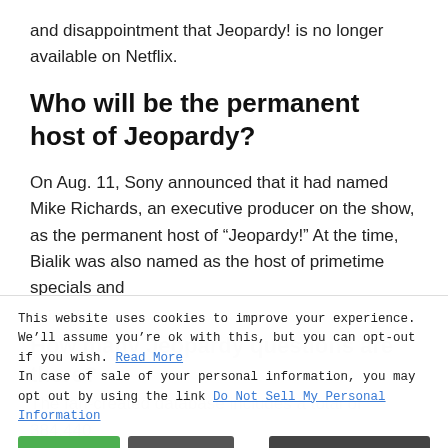and disappointment that Jeopardy! is no longer available on Netflix.
Who will be the permanent host of Jeopardy?
On Aug. 11, Sony announced that it had named Mike Richards, an executive producer on the show, as the permanent host of “Jeopardy!” At the time, Bialik was also named as the host of primetime specials and spinoff series.
How many Jeopardy questions are there?
The fan-created database includes a total of 384,440 Q (January 10, 2020) fro... Jeopardy!.
This website uses cookies to improve your experience. We’ll assume you’re ok with this, but you can opt-out if you wish. Read More
In case of sale of your personal information, you may opt out by using the link Do Not Sell My Personal Information